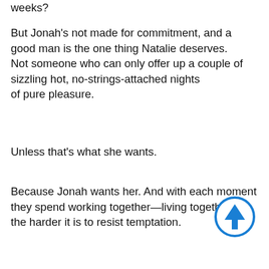weeks?
But Jonah's not made for commitment, and a good man is the one thing Natalie deserves.
Not someone who can only offer up a couple of sizzling hot, no-strings-attached nights
of pure pleasure.
Unless that's what she wants.
Because Jonah wants her. And with each moment they spend working together—living together—
the harder it is to resist temptation.
[Figure (illustration): Blue circle with upward-pointing arrow icon]